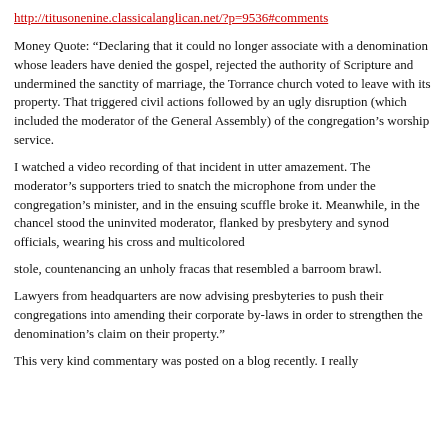http://titusonenine.classicalanglican.net/?p=9536#comments
Money Quote: “Declaring that it could no longer associate with a denomination whose leaders have denied the gospel, rejected the authority of Scripture and undermined the sanctity of marriage, the Torrance church voted to leave with its property. That triggered civil actions followed by an ugly disruption (which included the moderator of the General Assembly) of the congregation’s worship service.
I watched a video recording of that incident in utter amazement. The moderator’s supporters tried to snatch the microphone from under the congregation’s minister, and in the ensuing scuffle broke it. Meanwhile, in the chancel stood the uninvited moderator, flanked by presbytery and synod officials, wearing his cross and multicolored
stole, countenancing an unholy fracas that resembled a barroom brawl.
Lawyers from headquarters are now advising presbyteries to push their congregations into amending their corporate by-laws in order to strengthen the denomination’s claim on their property.”
This very kind commentary was posted on a blog recently. I really